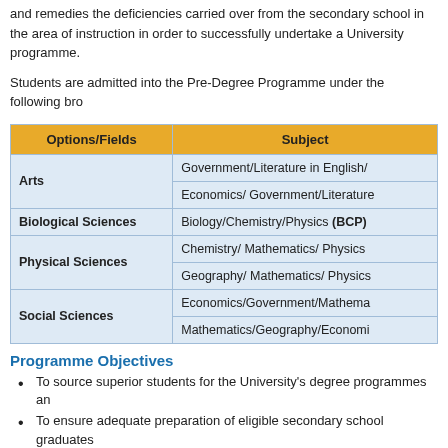and remedies the deficiencies carried over from the secondary school in the area of instruction in order to successfully undertake a University programme.
Students are admitted into the Pre-Degree Programme under the following bro
| Options/Fields | Subject |
| --- | --- |
| Arts | Government/Literature in English/ |
| Arts | Economics/ Government/Literature |
| Biological Sciences | Biology/Chemistry/Physics (BCP) |
| Physical Sciences | Chemistry/ Mathematics/ Physics |
| Physical Sciences | Geography/ Mathematics/ Physics |
| Social Sciences | Economics/Government/Mathema |
| Social Sciences | Mathematics/Geography/Economi |
Programme Objectives
To source superior students for the University's degree programmes an
To ensure adequate preparation of eligible secondary school graduates
To enhance analytical and independent learning abilities and promote th written skills of students.